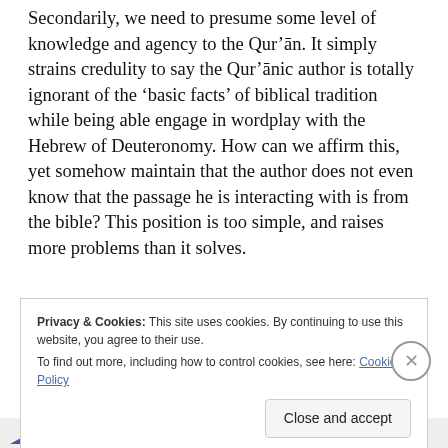Secondarily, we need to presume some level of knowledge and agency to the Qur'ān. It simply strains credulity to say the Qur'ānic author is totally ignorant of the 'basic facts' of biblical tradition while being able engage in wordplay with the Hebrew of Deuteronomy. How can we affirm this, yet somehow maintain that the author does not even know that the passage he is interacting with is from the bible? This position is too simple, and raises more problems than it solves.
Privacy & Cookies: This site uses cookies. By continuing to use this website, you agree to their use. To find out more, including how to control cookies, see here: Cookie Policy
Close and accept